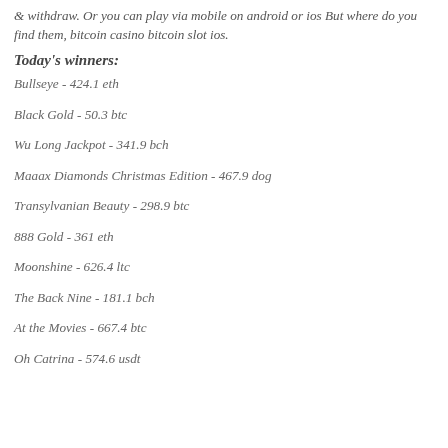& withdraw. Or you can play via mobile on android or ios But where do you find them, bitcoin casino bitcoin slot ios.
Today's winners:
Bullseye - 424.1 eth
Black Gold - 50.3 btc
Wu Long Jackpot - 341.9 bch
Maaax Diamonds Christmas Edition - 467.9 dog
Transylvanian Beauty - 298.9 btc
888 Gold - 361 eth
Moonshine - 626.4 ltc
The Back Nine - 181.1 bch
At the Movies - 667.4 btc
Oh Catrina - 574.6 usdt